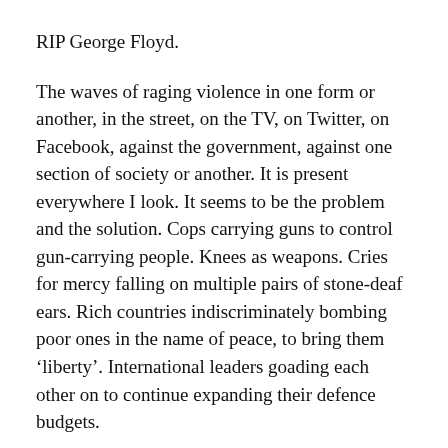RIP George Floyd.
The waves of raging violence in one form or another, in the street, on the TV, on Twitter, on Facebook, against the government, against one section of society or another. It is present everywhere I look. It seems to be the problem and the solution. Cops carrying guns to control gun-carrying people. Knees as weapons. Cries for mercy falling on multiple pairs of stone-deaf ears. Rich countries indiscriminately bombing poor ones in the name of peace, to bring them ‘liberty’. International leaders goading each other on to continue expanding their defence budgets.
I was born in a country of huge contrasts. It won its independence from the Brits, who ruled by the gun,